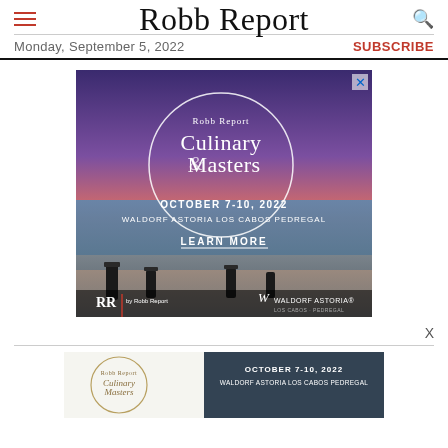Robb Report
Monday, September 5, 2022
SUBSCRIBE
[Figure (screenshot): Advertisement for Robb Report Culinary Masters event, October 7-10, 2022, Waldorf Astoria Los Cabos Pedregal. Features sunset ocean view with decorative lanterns. Logos for RR by Robb Report and Waldorf Astoria at bottom. 'Learn More' button visible.]
[Figure (screenshot): Bottom banner advertisement for Robb Report Culinary Masters, October 7-10, 2022, Waldorf Astoria Los Cabos Pedregal. Left side shows circular Culinary Masters logo, right side shows event details on dark background.]